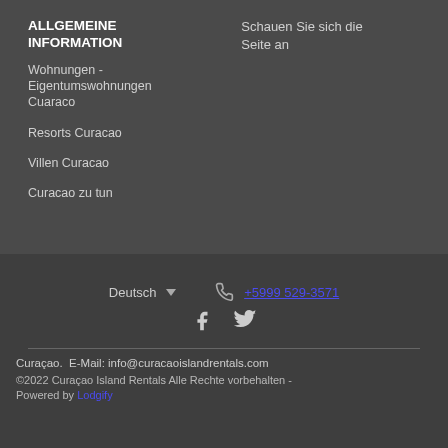ALLGEMEINE INFORMATION
Schauen Sie sich die Seite an
Wohnungen - Eigentumswohnungen Cuaraco
Resorts Curacao
Villen Curacao
Curacao zu tun
Deutsch ▾   +5999 529-3571
[Figure (other): Facebook and Twitter social media icons]
Curaçao.  E-Mail: info@curacaoislandrentals.com
©2022 Curaçao Island Rentals Alle Rechte vorbehalten - Powered by Lodgify